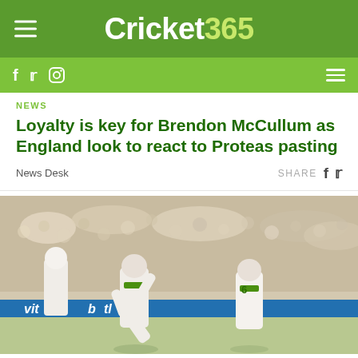Cricket365
NEWS
Loyalty is key for Brendon McCullum as England look to react to Proteas pasting
News Desk
SHARE
[Figure (photo): South African cricket players celebrating on the field during a Test match, with a crowded stadium in the background. A player in green South Africa kit is pumping his fists while another player celebrates nearby.]
NEWS